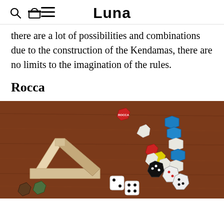Luna
there are a lot of possibilities and combinations due to the construction of the Kendamas, there are no limits to the imagination of the rules.
Rocca
[Figure (photo): Photo of various colorful hexagonal and cubic puzzle/toy blocks scattered on a wooden table surface, including a Penrose triangle-like wooden structure, colorful hex pieces in blue, white, yellow, red, and black/white patterned pieces.]